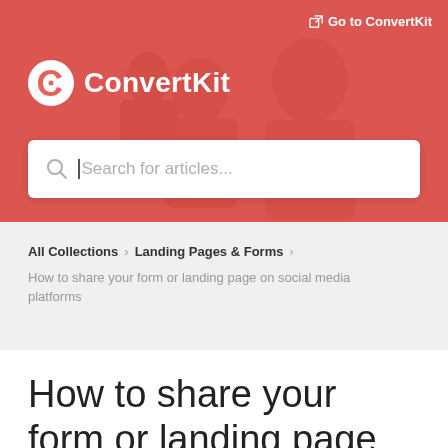Go to ConvertKit
ConvertKit
[Figure (screenshot): Search bar with placeholder text 'Search for articles...']
All Collections > Landing Pages & Forms >
How to share your form or landing page on social media platforms
How to share your form or landing page on social media platforms